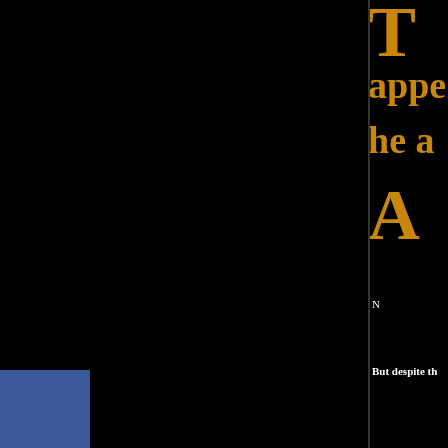[Figure (screenshot): Web article page screenshot. Left ~55% is black background. Right ~45% shows article content on black background with orange/gold large title letters partially visible ('T', 'appe', 'he a', 'A'), white body text snippets ('N...', 'But despite th', 'Speaking to Los'), and a partial embedded article image with gray background showing text fragments 'nd,', 'ent.', red sidebar bar, red box with 'LS GO' text, and additional text. A Facebook social share button appears rotated vertically on the left edge.]